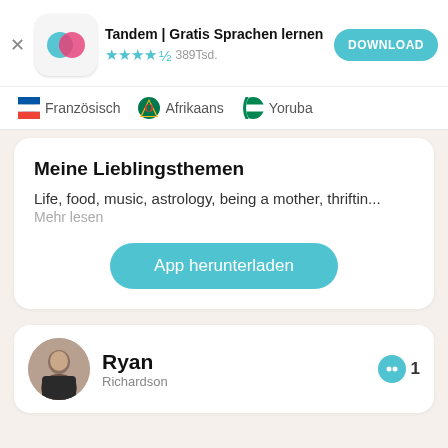[Figure (logo): Tandem app icon with teal and pink overlapping circles on white rounded square background]
Tandem | Gratis Sprachen lernen
★★★★½ 389Tsd.
DOWNLOAD
🇫🇷 Französisch  🇿🇦 Afrikaans  🇳🇬 Yoruba
Meine Lieblingsthemen
Life, food, music, astrology, being a mother, thriftin...
Mehr lesen
App herunterladen
[Figure (photo): Profile photo of Ryan Richardson, a man sitting at a table]
Ryan
Richardson